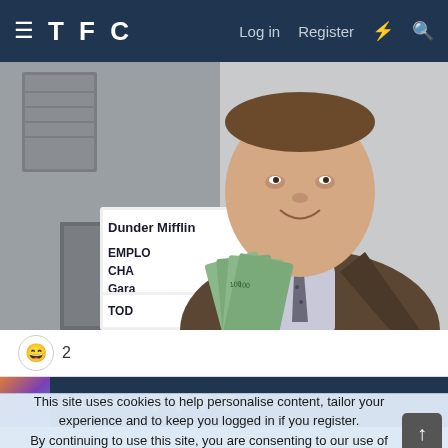TFC  Log in  Register
[Figure (photo): Man in brown suit holding fan of dollar bills in front of a Dunder Mifflin Employee Change Garage sign]
😄 2
Pathfinder 🏆🏆🏆🏆
This site uses cookies to help personalise content, tailor your experience and to keep you logged in if you register.
By continuing to use this site, you are consenting to our use of cookies.
✓ ACCEPT  LEARN MORE...